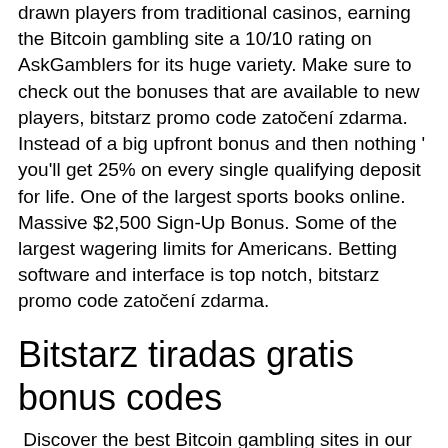drawn players from traditional casinos, earning the Bitcoin gambling site a 10/10 rating on AskGamblers for its huge variety. Make sure to check out the bonuses that are available to new players, bitstarz promo code zatočení zdarma.
Instead of a big upfront bonus and then nothing ' you'll get 25% on every single qualifying deposit for life. One of the largest sports books online. Massive $2,500 Sign-Up Bonus. Some of the largest wagering limits for Americans. Betting software and interface is top notch, bitstarz promo code zatočení zdarma.
Bitstarz tiradas gratis bonus codes
Discover the best Bitcoin gambling sites in our expert's top picks, bitstarz promo code zatočení zdarma.
There is also the live chat option which